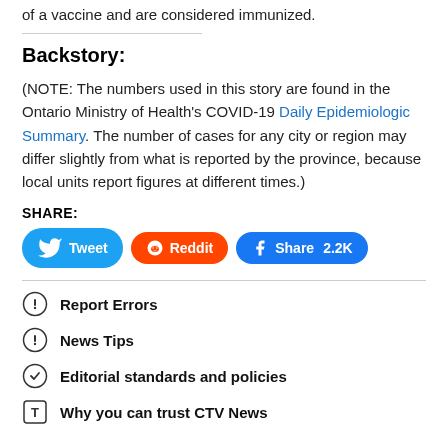of a vaccine and are considered immunized.
Backstory:
(NOTE: The numbers used in this story are found in the Ontario Ministry of Health's COVID-19 Daily Epidemiologic Summary. The number of cases for any city or region may differ slightly from what is reported by the province, because local units report figures at different times.)
SHARE:
Tweet | Reddit | Share 2.2K
Report Errors
News Tips
Editorial standards and policies
Why you can trust CTV News